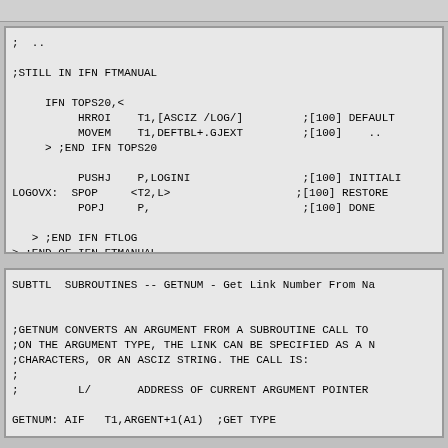; ..

;STILL IN IFN FTMANUAL

     IFN TOPS20,<
          HRROI    T1,[ASCIZ /LOG/]         ;[100] DEFAULT
          MOVEM    T1,DEFTBL+.GJEXT         ;[100]    ..
     > ;END IFN TOPS20

          PUSHJ    P,LOGINI                 ;[100] INITIALI
LOGOVX:  SPOP     <T2,L>                   ;[100] RESTORE
          POPJ     P,                       ;[100] DONE

   > ;END IFN FTLOG
> ;END OF IFN FTMANUAL
SUBTTL  SUBROUTINES -- GETNUM - Get Link Number From Na

;GETNUM CONVERTS AN ARGUMENT FROM A SUBROUTINE CALL TO
;ON THE ARGUMENT TYPE, THE LINK CAN BE SPECIFIED AS A N
;CHARACTERS, OR AN ASCIZ STRING. THE CALL IS:
;
;         L/       ADDRESS OF CURRENT ARGUMENT POINTER
GETNUM: AIF   T1,ARGENT+1(A1)  ;GET TYPE